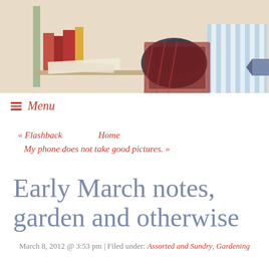[Figure (illustration): Blog header banner illustration showing a cozy reading scene with books, papers, and a striped couch. Overlaid ribbon banner reads 'here in the bonny glen' in italic text on a blue-grey background.]
≡ Menu
« Flashback   Home
My phone does not take good pictures. »
Early March notes, garden and otherwise
March 8, 2012 @ 3:53 pm | Filed under: Assorted and Sundry, Gardening